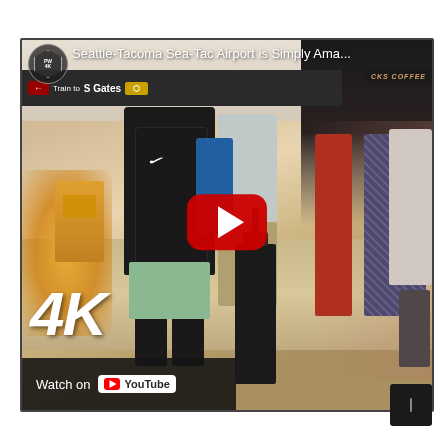[Figure (screenshot): YouTube video thumbnail/embed showing Seattle-Tacoma Sea-Tac Airport interior scene with travelers walking through terminal. A man in black t-shirt with Nike backpack is prominent in foreground. Large red YouTube play button overlay in center. '4K' watermark in bottom-left. 'Watch on YouTube' bar at bottom-left. Title text reads 'Seattle-Tacoma Sea-Tac Airport is Simply Ama...' at top. Channel badge in top-left corner.]
[Figure (screenshot): Small dark square button in bottom-right corner of the page, outside the video frame, containing a vertical bar icon (info/settings button).]